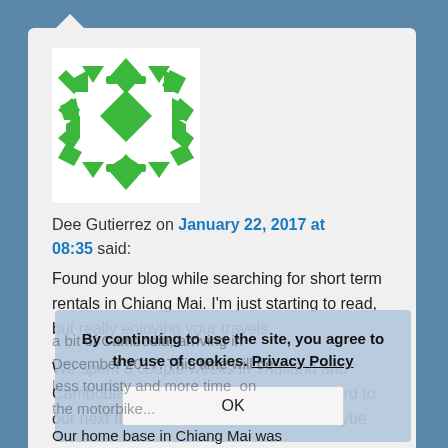[Figure (illustration): Green geometric/tribal pattern avatar icon with X and diamond shapes on white background]
Dee Gutierrez on January 22, 2017 at 08:35 said:
Found your blog while searching for short term rentals in Chiang Mai. I'm just starting to read, but really enjoying your travels.
We spent a couple weeks in Thailand and Cambodia in 2016, and are looking forward to our next trip (Thailand, Myanmar and maybe a bit of Cambodia, arriving in December 2017. This time will be less touristy and more time on the motorbike...
By continuing to use the site, you agree to the use of cookies. Privacy Policy
OK
Our home base in Chiang Mai was